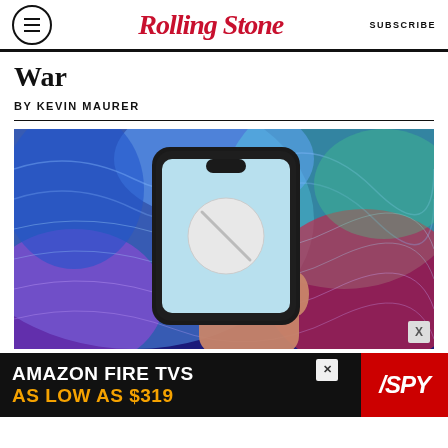Rolling Stone | SUBSCRIBE
War
BY KEVIN MAURER
[Figure (photo): A hand holding a smartphone displaying a white pill/tablet on a colorful swirling holographic background in blues, greens, reds and purples.]
AMAZON FIRE TVS AS LOW AS $319 SPY